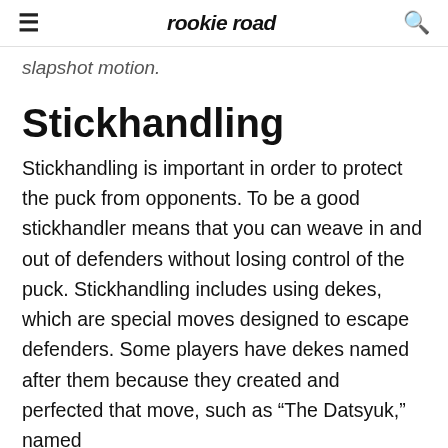rookie road
slapshot motion.
Stickhandling
Stickhandling is important in order to protect the puck from opponents. To be a good stickhandler means that you can weave in and out of defenders without losing control of the puck. Stickhandling includes using dekes, which are special moves designed to escape defenders. Some players have dekes named after them because they created and perfected that move, such as “The Datsyuk,” named